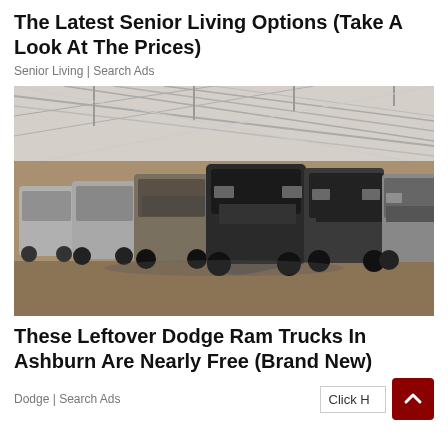The Latest Senior Living Options (Take A Look At The Prices)
Senior Living | Search Ads
[Figure (photo): A row of large trucks and SUVs covered in plastic/dust parked inside a large warehouse or barn with metal truss roof and dirt floor]
These Leftover Dodge Ram Trucks In Ashburn Are Nearly Free (Brand New)
Dodge | Search Ads